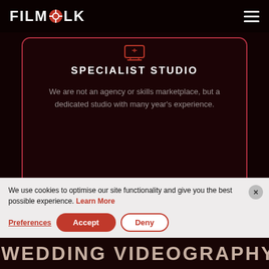FILMFOLK
SPECIALIST STUDIO
We are not an agency or skills marketplace, but a dedicated studio with many year's experience.
We use cookies to optimise our site functionality and give you the best possible experience. Learn More
WEDDING VIDEOGRAPHY